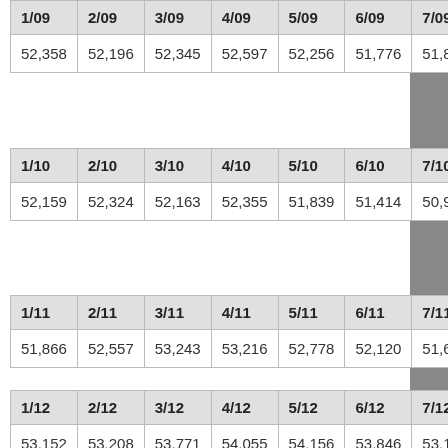| 1/09 | 2/09 | 3/09 | 4/09 | 5/09 | 6/09 | 7/09 | 8/09 |
| --- | --- | --- | --- | --- | --- | --- | --- |
| 52,358 | 52,196 | 52,345 | 52,597 | 52,256 | 51,776 | 51,810 | 51,72... |
| 1/10 | 2/10 | 3/10 | 4/10 | 5/10 | 6/10 | 7/10 | 8/10 |
| --- | --- | --- | --- | --- | --- | --- | --- |
| 52,159 | 52,324 | 52,163 | 52,355 | 51,839 | 51,414 | 50,974 | 50,87... |
| 1/11 | 2/11 | 3/11 | 4/11 | 5/11 | 6/11 | 7/11 | 8/11 |
| --- | --- | --- | --- | --- | --- | --- | --- |
| 51,866 | 52,557 | 53,243 | 53,216 | 52,778 | 52,120 | 51,662 | 51,09... |
| 1/12 | 2/12 | 3/12 | 4/12 | 5/12 | 6/12 | 7/12 | 8/12 |
| --- | --- | --- | --- | --- | --- | --- | --- |
| 53,152 | 53,208 | 53,771 | 54,055 | 54,156 | 53,846 | 53,165 | 53,68... |